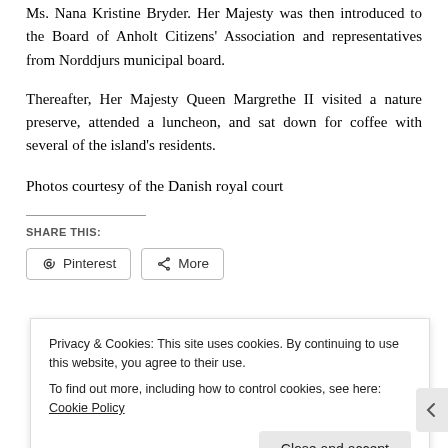Ms. Nana Kristine Bryder. Her Majesty was then introduced to the Board of Anholt Citizens' Association and representatives from Norddjurs municipal board.
Thereafter, Her Majesty Queen Margrethe II visited a nature preserve, attended a luncheon, and sat down for coffee with several of the island's residents.
Photos courtesy of the Danish royal court
SHARE THIS:
Privacy & Cookies: This site uses cookies. By continuing to use this website, you agree to their use. To find out more, including how to control cookies, see here: Cookie Policy